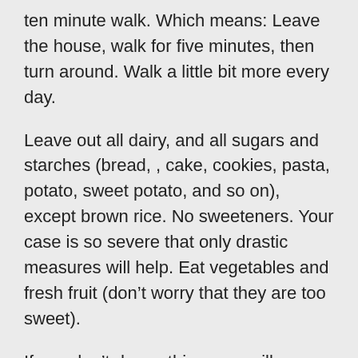ten minute walk. Which means: Leave the house, walk for five minutes, then turn around. Walk a little bit more every day.
Leave out all dairy, and all sugars and starches (bread, , cake, cookies, pasta, potato, sweet potato, and so on), except brown rice. No sweeteners. Your case is so severe that only drastic measures will help. Eat vegetables and fresh fruit (don't worry that they are too sweet).
If you don't do anything, you will soon get sicker. Go to my blog